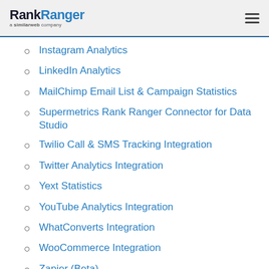RankRanger a similarweb company
Instagram Analytics
LinkedIn Analytics
MailChimp Email List & Campaign Statistics
Supermetrics Rank Ranger Connector for Data Studio
Twilio Call & SMS Tracking Integration
Twitter Analytics Integration
Yext Statistics
YouTube Analytics Integration
WhatConverts Integration
WooCommerce Integration
Zapier (Beta)